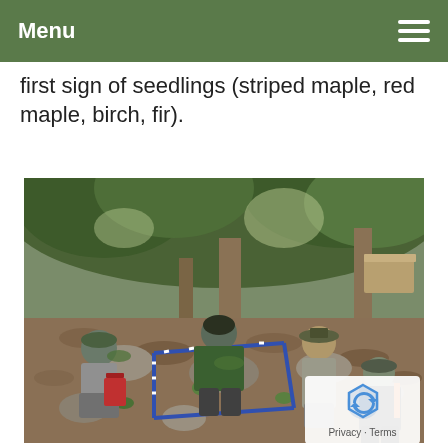Menu
first sign of seedlings (striped maple, red maple, birch, fir).
[Figure (photo): Four people crouching on a rocky, leaf-covered forest hillside, using a measuring frame (blue and white striped stakes forming a square plot) to survey seedlings. One person holds a clipboard/tablet, another bends close to the ground with equipment, and two others assist. Trees and forest vegetation visible in background.]
Privacy · Terms